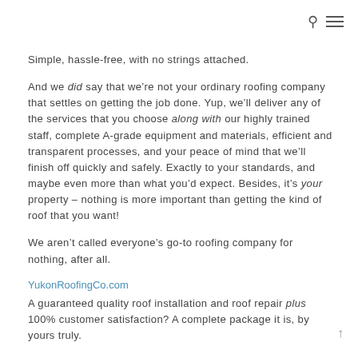search and menu icons
Simple, hassle-free, with no strings attached.
And we did say that we’re not your ordinary roofing company that settles on getting the job done. Yup, we’ll deliver any of the services that you choose along with our highly trained staff, complete A-grade equipment and materials, efficient and transparent processes, and your peace of mind that we’ll finish off quickly and safely. Exactly to your standards, and maybe even more than what you’d expect. Besides, it’s your property – nothing is more important than getting the kind of roof that you want!
We aren’t called everyone’s go-to roofing company for nothing, after all.
YukonRoofingCo.com
A guaranteed quality roof installation and roof repair plus 100% customer satisfaction? A complete package it is, by yours truly.